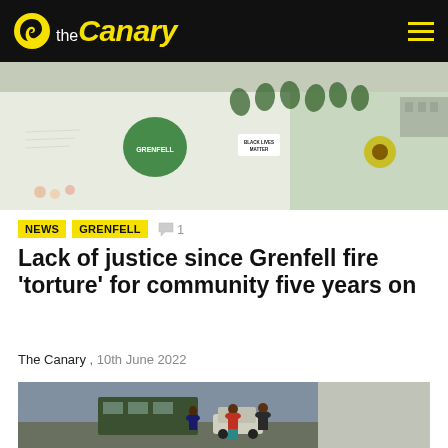the Canary
[Figure (photo): Grenfell Tower memorial wall with murals, flowers and tributes painted on a white wall]
NEWS  GRENFELL  💬 1
Lack of justice since Grenfell fire 'torture' for community five years on
The Canary , 10th June 2022
[Figure (photo): Street scene with people standing on a road near Grenfell area]